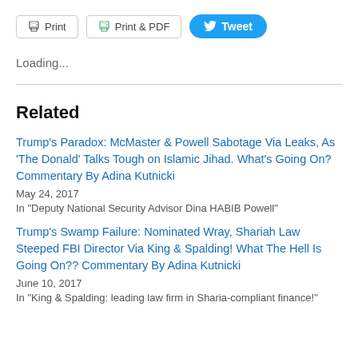Print | Print & PDF | Tweet
Loading...
Related
Trump's Paradox: McMaster & Powell Sabotage Via Leaks, As 'The Donald' Talks Tough on Islamic Jihad. What's Going On? Commentary By Adina Kutnicki
May 24, 2017
In "Deputy National Security Advisor Dina HABIB Powell"
Trump's Swamp Failure: Nominated Wray, Shariah Law Steeped FBI Director Via King & Spalding! What The Hell Is Going On?? Commentary By Adina Kutnicki
June 10, 2017
In "King & Spalding: leading law firm in Sharia-compliant finance!"